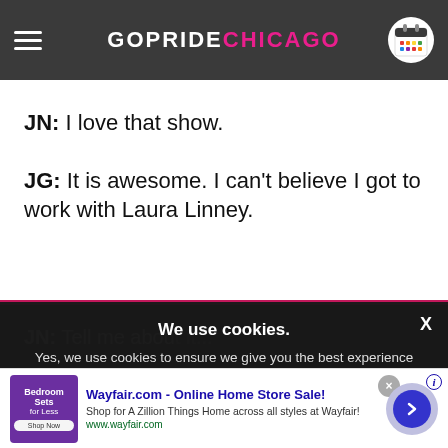GOPRIDE CHICAGO
JN: I love that show.
JG: It is awesome. I can't believe I got to work with Laura Linney.
JN: Tell me about it...
JG: [partially obscured text]
We use cookies.
Yes, we use cookies to ensure we give you the best experience using this website.
By closing this box or clicking on the continue button, you agree to our terms of use and consent to the use of
[Figure (screenshot): Wayfair.com advertisement banner with bedroom furniture image, ad title 'Wayfair.com - Online Home Store Sale!', description text and URL www.wayfair.com, with navigation arrow button]